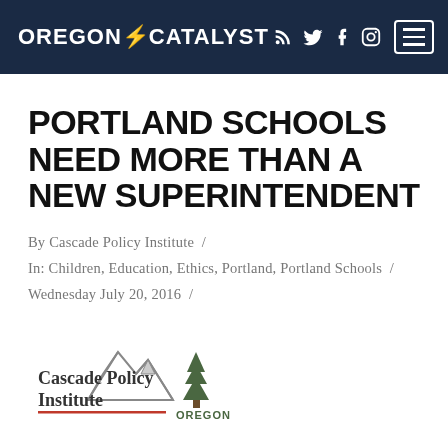OREGON CATALYST
PORTLAND SCHOOLS NEED MORE THAN A NEW SUPERINTENDENT
By Cascade Policy Institute / In: Children, Education, Ethics, Portland, Portland Schools / Wednesday July 20, 2016 /
[Figure (logo): Cascade Policy Institute logo with mountain silhouette and tree graphic, text reading 'Cascade Policy Institute OREGON']